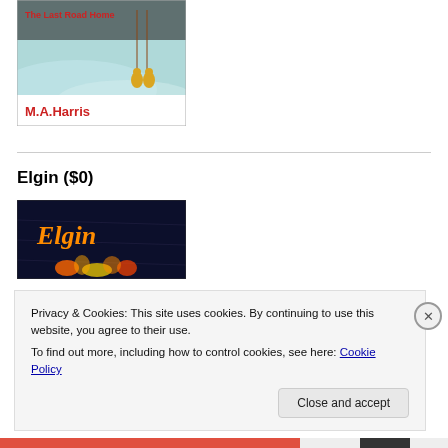[Figure (photo): Book cover showing an icy/winter scene with gold figurines and text 'M.A.Harris' in red at the bottom]
Elgin ($0)
[Figure (photo): Book cover with dark blue background and orange italic text 'Elgin' with flame-like effects below]
Privacy & Cookies: This site uses cookies. By continuing to use this website, you agree to their use.
To find out more, including how to control cookies, see here: Cookie Policy
Close and accept